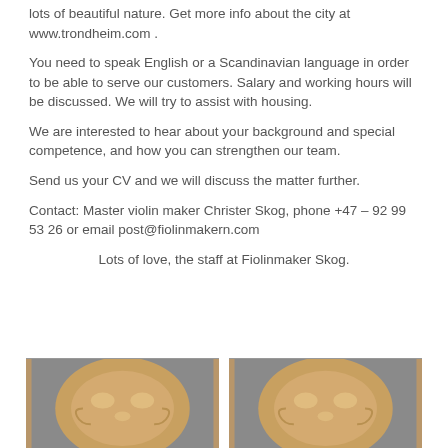lots of beautiful nature. Get more info about the city at www.trondheim.com .
You need to speak English or a Scandinavian language in order to be able to serve our customers. Salary and working hours will be discussed. We will try to assist with housing.
We are interested to hear about your background and special competence, and how you can strengthen our team.
Send us your CV and we will discuss the matter further.
Contact: Master violin maker Christer Skog, phone +47 – 92 99 53 26 or email post@fiolinmakern.com
Lots of love, the staff at Fiolinmaker Skog.
[Figure (photo): Two violin body tops/backs shown side by side, wooden with light reflections on dark background]
[Figure (photo): Second violin body top/back, similar to the first one]